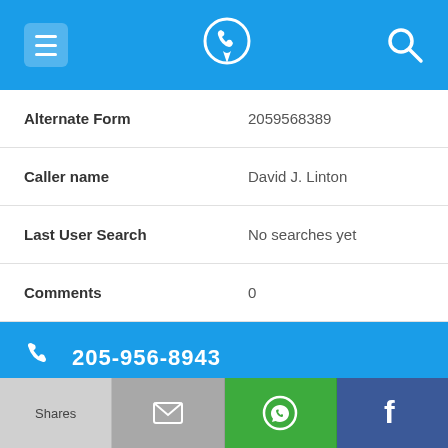[Figure (screenshot): Mobile app top navigation bar with hamburger menu, phone/location logo, and search icon on blue background]
| Alternate Form | 2059568389 |
| Caller name | David J. Linton |
| Last User Search | No searches yet |
| Comments | 0 |
205-956-8943
| Alternate Form | 2059568943 |
[Figure (screenshot): Bottom action bar with Shares, email, WhatsApp, and Facebook buttons]